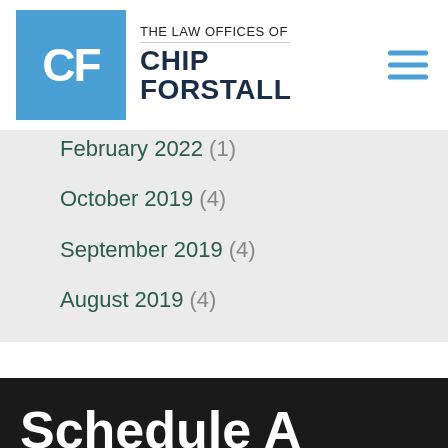THE LAW OFFICES OF CHIP FORSTALL
February 2022 (1)
October 2019 (4)
September 2019 (4)
August 2019 (4)
July 2019 (5)
June 2019 (4)
July 2014 (3)
Schedule A Consultation